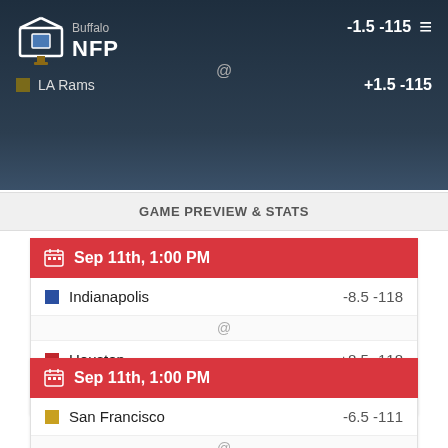NFP | Buffalo @ LA Rams | -1.5 -115 / +1.5 -115
GAME PREVIEW & STATS
Sep 11th, 1:00 PM
Indianapolis -8.5 -118 @ Houston +8.5 -118
GAME PREVIEW & STATS
Sep 11th, 1:00 PM
San Francisco -6.5 -111 @ Chicago +6.5 -111
GAME PREVIEW & STATS